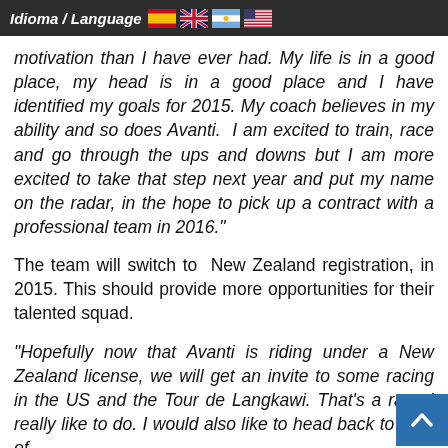Idioma / Language
motivation than I have ever had. My life is in a good place, my head is in a good place and I have identified my goals for 2015. My coach believes in my ability and so does Avanti. I am excited to train, race and go through the ups and downs but I am more excited to take that step next year and put my name on the radar, in the hope to pick up a contract with a professional team in 2016."
The team will switch to New Zealand registration, in 2015. This should provide more opportunities for their talented squad.
“Hopefully now that Avanti is riding under a New Zealand license, we will get an invite to some racing in the US and the Tour de Langkawi. That’s a race I really like to do. I would also like to head back to Tour of